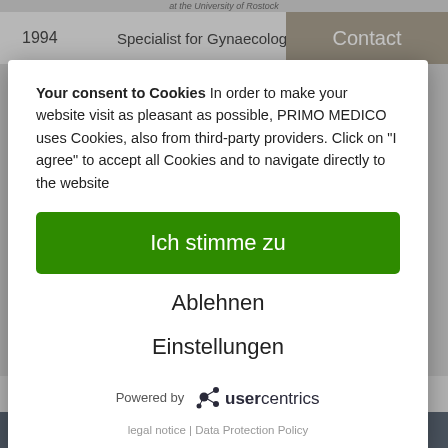at the University of Rostock
| Year | Description |
| --- | --- |
| 1994 | Specialist for Gynaecology and |
| 2007 | Specialty: Gynaecological Oncology |
Contact
Your consent to Cookies In order to make your website visit as pleasant as possible, PRIMO MEDICO uses Cookies, also from third-party providers. Click on "I agree" to accept all Cookies and to navigate directly to the website
Ich stimme zu
Ablehnen
Einstellungen
Powered by usercentrics
legal notice | Data Protection Policy
TOP